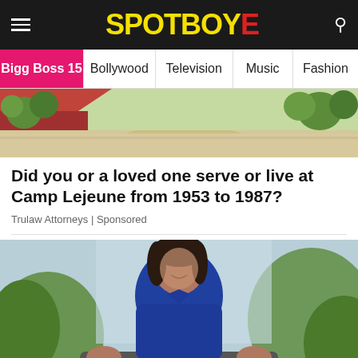SPOTBOYE
Bigg Boss 15 | Bollywood | Television | Music | Fashion
[Figure (illustration): Cartoon illustration of a rural scene with green trees and a winding road]
Did you or a loved one serve or live at Camp Lejeune from 1953 to 1987?
Trulaw Attorneys | Sponsored
[Figure (photo): Middle-aged woman with dark hair riding a bicycle, smiling, wearing a blue sleeveless top, outdoors with green trees in the background]